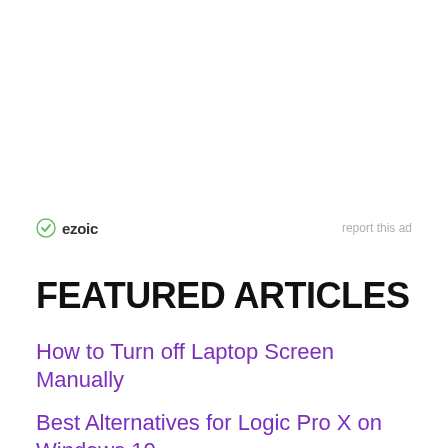[Figure (other): Ezoic advertisement area with ezoic logo and 'report this ad' link]
FEATURED ARTICLES
How to Turn off Laptop Screen Manually
Best Alternatives for Logic Pro X on Windows 10
Digital Ocean Review: Cheapest cloud hosting